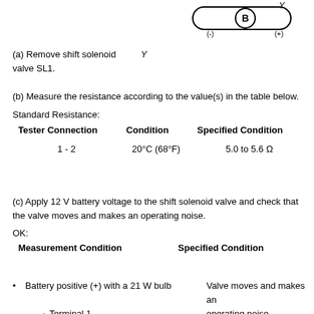[Figure (schematic): Circuit schematic showing battery symbol with terminal B labeled, negative (-) on left and positive (+) on right, connected by rounded rectangle.]
(a) Remove shift solenoid valve SL1.
(b) Measure the resistance according to the value(s) in the table below.
Standard Resistance:
| Tester Connection | Condition | Specified Condition |
| --- | --- | --- |
| 1 - 2 | 20°C (68°F) | 5.0 to 5.6 Ω |
(c) Apply 12 V battery voltage to the shift solenoid valve and check that the valve moves and makes an operating noise.
OK:
| Measurement Condition | Specified Condition |
| --- | --- |
| Battery positive (+) with a 21 W bulb → Terminal 1 | Valve moves and makes an operating noise |